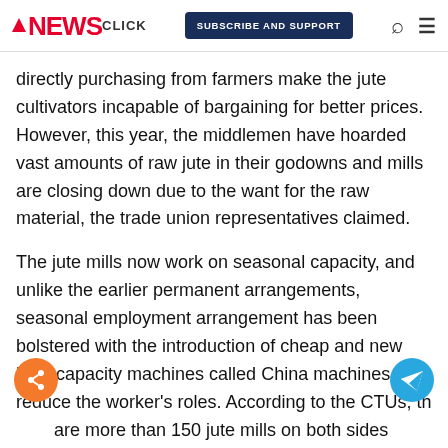NEWSCLICK | SUBSCRIBE AND SUPPORT
directly purchasing from farmers make the jute cultivators incapable of bargaining for better prices. However, this year, the middlemen have hoarded vast amounts of raw jute in their godowns and mills are closing down due to the want for the raw material, the trade union representatives claimed.
The jute mills now work on seasonal capacity, and unlike the earlier permanent arrangements, seasonal employment arrangement has been bolstered with the introduction of cheap and new high-capacity machines called China machines to reduce the worker's roles. According to the CTUs, there are more than 150 jute mills on both sides of river Hooghly in West Bengal, and most of these